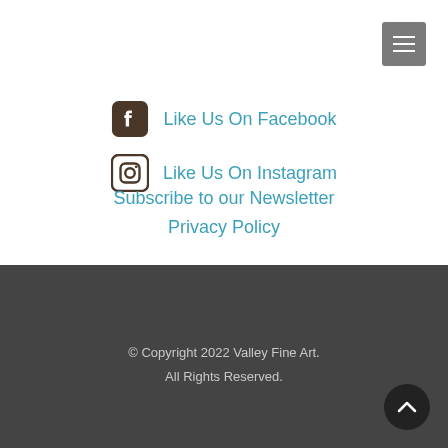[Figure (logo): Hamburger menu button (three horizontal lines) on grey square background, top right corner]
Like Us On Facebook
Like Us On Instagram
Subscribe to our Newsletter
Privacy Policy
© Copyright 2022 Valley Fine Art.
All Rights Reserved.